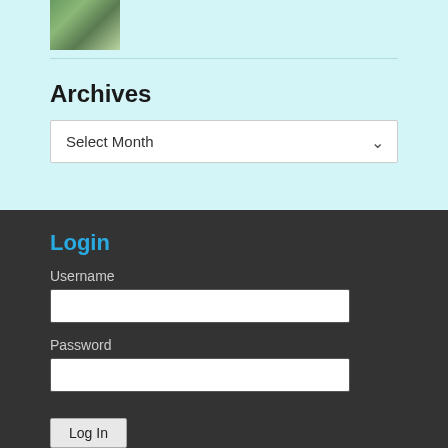[Figure (photo): Small thumbnail image showing a house or building with grass/greenery]
Archives
Select Month
Login
Username
Password
Log In